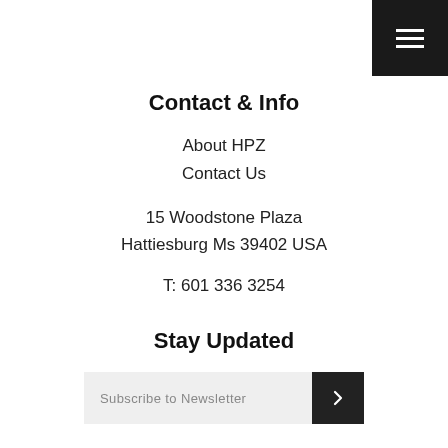[Figure (other): Hamburger menu button — dark square in top-right corner with three white horizontal lines]
Contact & Info
About HPZ
Contact Us
15 Woodstone Plaza
Hattiesburg Ms 39402 USA
T: 601 336 3254
Stay Updated
Subscribe to Newsletter